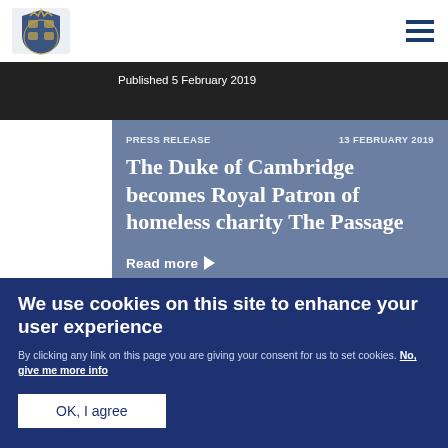UK Government Royal Household website header with crest logo and navigation menu
Published 5 February 2019
PRESS RELEASE   13 FEBRUARY 2019
The Duke of Cambridge becomes Royal Patron of homeless charity The Passage
Read more
We use cookies on this site to enhance your user experience
By clicking any link on this page you are giving your consent for us to set cookies. No, give me more info
OK, I agree